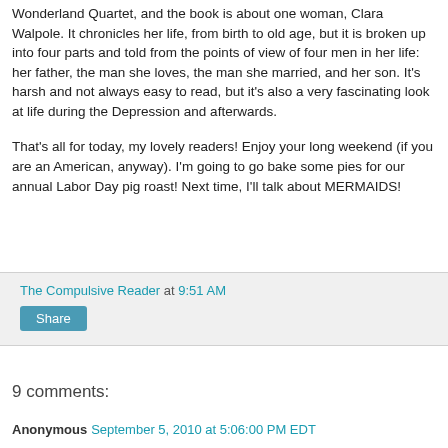Wonderland Quartet, and the book is about one woman, Clara Walpole. It chronicles her life, from birth to old age, but it is broken up into four parts and told from the points of view of four men in her life: her father, the man she loves, the man she married, and her son. It's harsh and not always easy to read, but it's also a very fascinating look at life during the Depression and afterwards.
That's all for today, my lovely readers! Enjoy your long weekend (if you are an American, anyway). I'm going to go bake some pies for our annual Labor Day pig roast! Next time, I'll talk about MERMAIDS!
The Compulsive Reader at 9:51 AM
Share
9 comments:
Anonymous  September 5, 2010 at 5:06:00 PM EDT